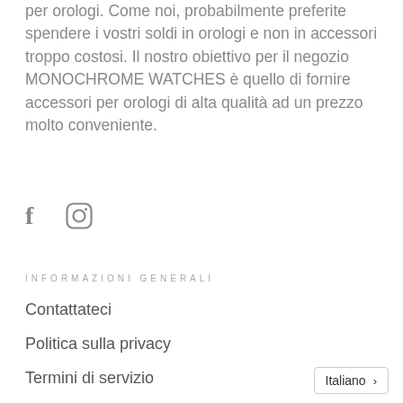per orologi. Come noi, probabilmente preferite spendere i vostri soldi in orologi e non in accessori troppo costosi. Il nostro obiettivo per il negozio MONOCHROME WATCHES è quello di fornire accessori per orologi di alta qualità ad un prezzo molto conveniente.
[Figure (illustration): Facebook and Instagram social media icons]
INFORMAZIONI GENERALI
Contattateci
Politica sulla privacy
Termini di servizio
Italiano >